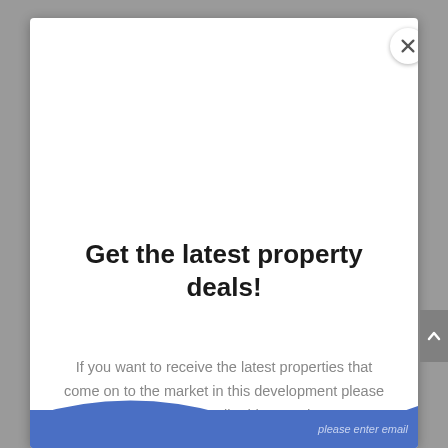Get the latest property deals!
If you want to receive the latest properties that come on to the market in this development please reister your email address today.